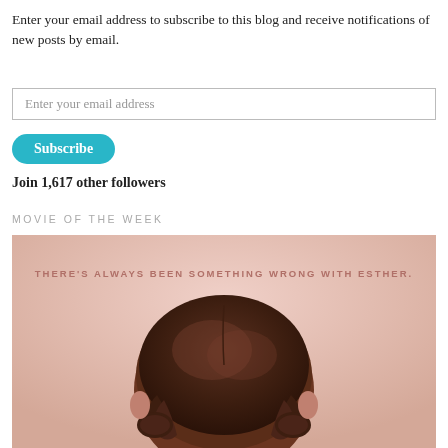Enter your email address to subscribe to this blog and receive notifications of new posts by email.
Enter your email address
Subscribe
Join 1,617 other followers
MOVIE OF THE WEEK
[Figure (photo): Movie poster for Orphan showing the back of a child's head with braided hair against a pink/blush background. Text reads: THERE'S ALWAYS BEEN SOMETHING WRONG WITH ESTHER.]